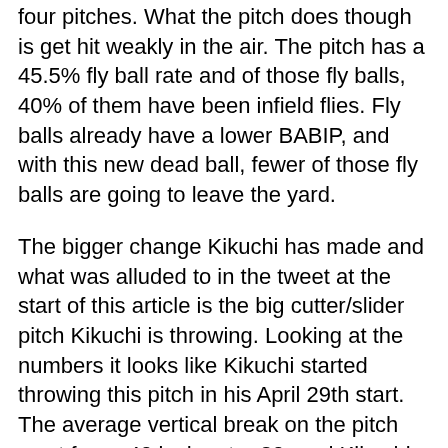four pitches. What the pitch does though is get hit weakly in the air. The pitch has a 45.5% fly ball rate and of those fly balls, 40% of them have been infield flies. Fly balls already have a lower BABIP, and with this new dead ball, fewer of those fly balls are going to leave the yard.
The bigger change Kikuchi has made and what was alluded to in the tweet at the start of this article is the big cutter/slider pitch Kikuchi is throwing. Looking at the numbers it looks like Kikuchi started throwing this pitch in his April 29th start. The average vertical break on the pitch went from -40 inches to -30, and Kikuchi started throwing it harder increasing the velocity on the pitch from four miles per hour up to 88 mph.